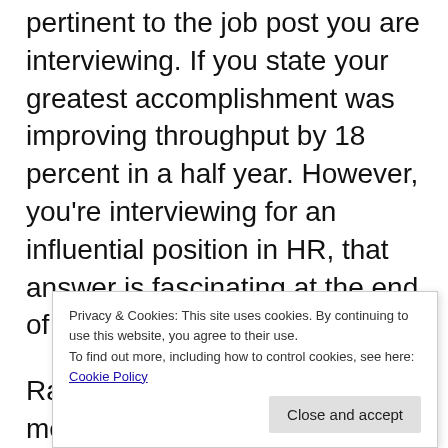pertinent to the job post you are interviewing. If you state your greatest accomplishment was improving throughput by 18 percent in a half year. However, you're interviewing for an influential position in HR, that answer is fascinating at the end of the day unessential.
Rather, talk about a failing to meet e " i n your immediate reports have been advanced.
Privacy & Cookies: This site uses cookies. By continuing to use this website, you agree to their use.
To find out more, including how to control cookies, see here:
Cookie Policy
Close and accept